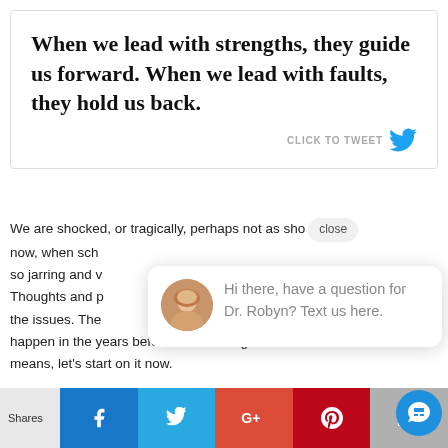When we lead with strengths, they guide us forward. When we lead with faults, they hold us back.
CLICK TO TWEET
We are shocked, or tragically, perhaps not as shocked as we should be now, when school shootings happen. The shootings are so jarring and violent and devastating and unthinkable. Thoughts and prayers abound. People start talking about the issues. The real work, though, is in what needs to happen in the years before the shooting. And that means, let's start on it now.
close
Hi there, have a question for Dr. Robyn? Text us here.
Shares